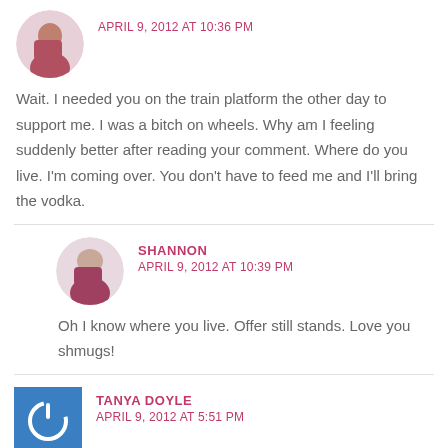APRIL 9, 2012 AT 10:36 PM
Wait. I needed you on the train platform the other day to support me. I was a bitch on wheels. Why am I feeling suddenly better after reading your comment. Where do you live. I'm coming over. You don't have to feed me and I'll bring the vodka.
SHANNON
APRIL 9, 2012 AT 10:39 PM
Oh I know where you live. Offer still stands. Love you shmugs!
TANYA DOYLE
APRIL 9, 2012 AT 5:51 PM
Ugh, I hate having to look inward, because the fault is usually mine. It mostly comes down to the way I handle my frustration.